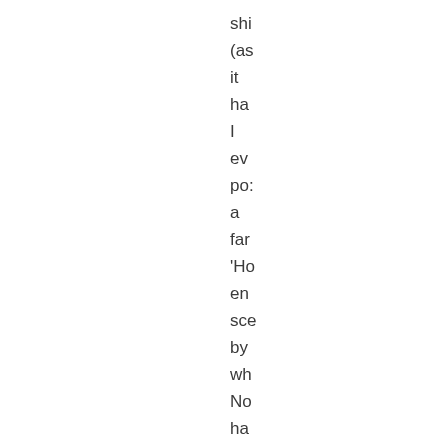shi
(as
it
ha
I
ev
po:
a
far
'Ho
en
sce
by
wh
No
ha
bu: